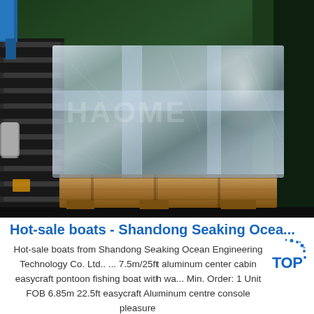[Figure (photo): Industrial conveyor or roller rack with a large package wrapped in clear plastic film/shrink wrap sitting on a wooden pallet. The background shows green industrial equipment. A watermark reading 'HAOME' or similar is overlaid on the image.]
Hot-sale boats - Shandong Seaking Ocea...
Hot-sale boats from Shandong Seaking Ocean Engineering Technology Co. Ltd.. ... 7.5m/25ft aluminum center cabin easycraft pontoon fishing boat with wa... Min. Order: 1 Unit FOB 6.85m 22.5ft easycraft Aluminum centre console pleasure